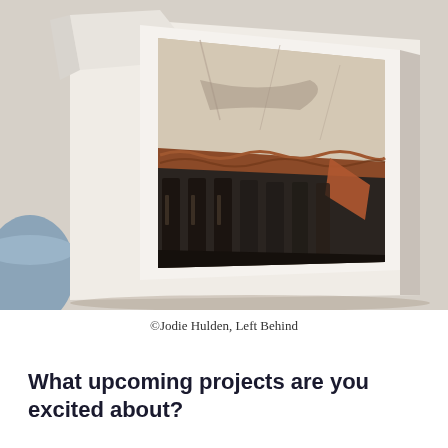[Figure (photo): A photograph of an open book or portfolio showing a print of an abstract or artistic image — appears to depict a dark, textured object resembling a comb or skeletal form with copper/rust tones against a cracked pale background, placed on a white surface with a blue circular object partially visible at lower left.]
©Jodie Hulden, Left Behind
What upcoming projects are you excited about?